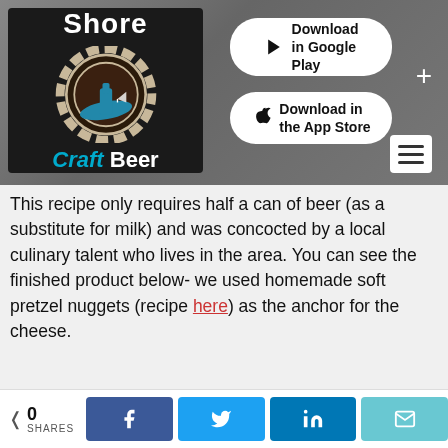[Figure (screenshot): Shore Craft Beer website header with logo showing a gear/bottle cap with blue bottle and sailboat, 'Shore Craft Beer' branding in black box, Download in Google Play and Download in the App Store buttons, hamburger menu icon, and plus icon.]
This recipe only requires half a can of beer (as a substitute for milk) and was concocted by a local culinary talent who lives in the area. You can see the finished product below- we used homemade soft pretzel nuggets (recipe here) as the anchor for the cheese.
[Figure (photo): Photo of a decorative plate with soft pretzel nuggets and cheese dip.]
0 SHARES | Facebook share | Twitter share | LinkedIn share | Email share